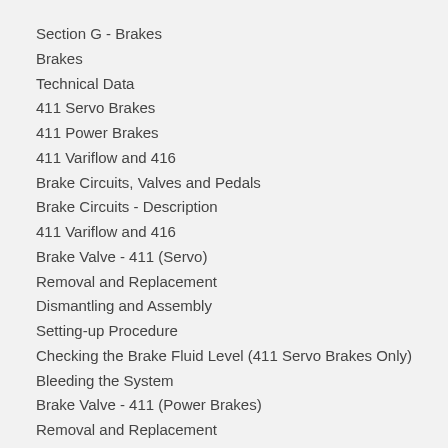Section G - Brakes
Brakes
Technical Data
411 Servo Brakes
411 Power Brakes
411 Variflow and 416
Brake Circuits, Valves and Pedals
Brake Circuits - Description
411 Variflow and 416
Brake Valve - 411 (Servo)
Removal and Replacement
Dismantling and Assembly
Setting-up Procedure
Checking the Brake Fluid Level (411 Servo Brakes Only)
Bleeding the System
Brake Valve - 411 (Power Brakes)
Removal and Replacement
Brake Valve Setting